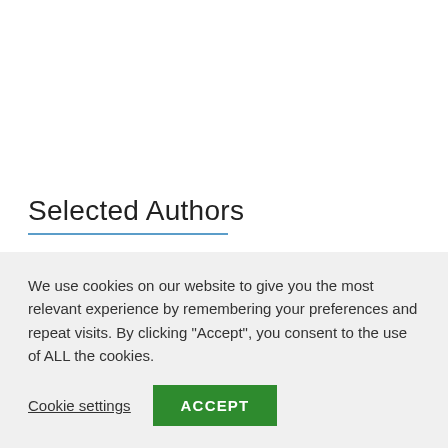Selected Authors
Adrian Russell
Amy Cissell
Justin Bauer
Karen C. Silverstein
We use cookies on our website to give you the most relevant experience by remembering your preferences and repeat visits. By clicking "Accept", you consent to the use of ALL the cookies.
Cookie settings   ACCEPT